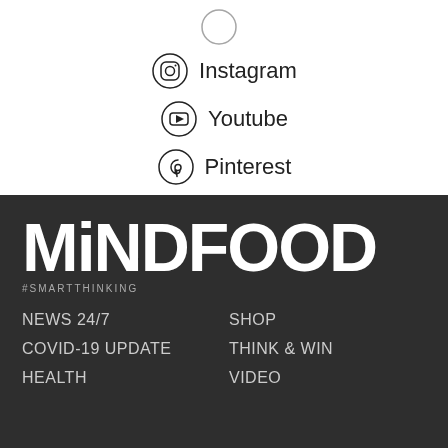Instagram
Youtube
Pinterest
[Figure (logo): MiNDFOOD logo in white bold text on dark background with tagline #SMARTTHINKING]
#SMARTTHINKING
NEWS 24/7
SHOP
COVID-19 UPDATE
THINK & WIN
HEALTH
VIDEO